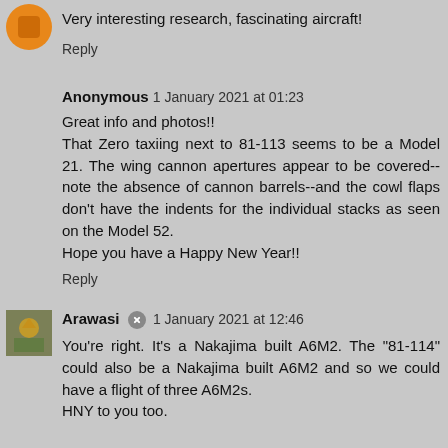[Figure (illustration): Orange circular avatar icon for an anonymous commenter]
Very interesting research, fascinating aircraft!
Reply
Anonymous 1 January 2021 at 01:23
Great info and photos!!
That Zero taxiing next to 81-113 seems to be a Model 21. The wing cannon apertures appear to be covered--note the absence of cannon barrels--and the cowl flaps don't have the indents for the individual stacks as seen on the Model 52.
Hope you have a Happy New Year!!
Reply
[Figure (illustration): Small thumbnail avatar showing an illustrated aircraft/aviation artwork for user Arawasi]
Arawasi 1 January 2021 at 12:46
You're right. It's a Nakajima built A6M2. The "81-114" could also be a Nakajima built A6M2 and so we could have a flight of three A6M2s.
HNY to you too.